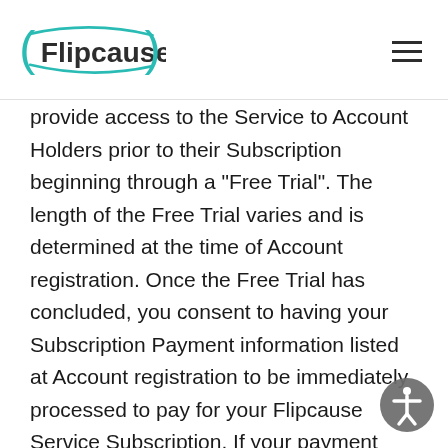Flipcause
provide access to the Service to Account Holders prior to their Subscription beginning through a “Free Trial”. The length of the Free Trial varies and is determined at the time of Account registration. Once the Free Trial has concluded, you consent to having your Subscription Payment information listed at Account registration to be immediately processed to pay for your Flipcause Service Subscription. If your payment information listed on file fails, Flipcause will attempt to contact you for new payment information to process your